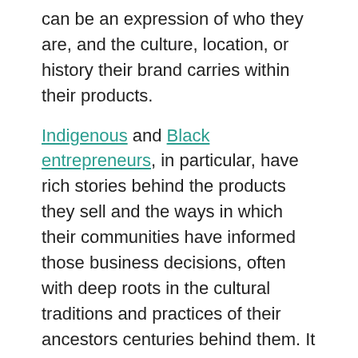can be an expression of who they are, and the culture, location, or history their brand carries within their products.
Indigenous and Black entrepreneurs, in particular, have rich stories behind the products they sell and the ways in which their communities have informed those business decisions, often with deep roots in the cultural traditions and practices of their ancestors centuries behind them. It is also true that merchants from these groups have historically faced numerous barriers to founding and growing their businesses. By going back to such practices as merchants, Indigenous and